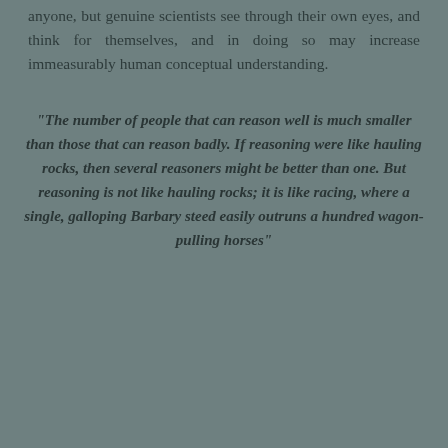anyone, but genuine scientists see through their own eyes, and think for themselves, and in doing so may increase immeasurably human conceptual understanding.
“The number of people that can reason well is much smaller than those that can reason badly. If reasoning were like hauling rocks, then several reasoners might be better than one. But reasoning is not like hauling rocks; it is like racing, where a single, galloping Barbary steed easily outruns a hundred wagon-pulling horses”